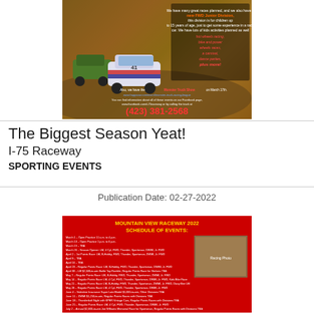[Figure (photo): Racing advertisement photo showing stock cars on a dirt track with promotional text about FWD Junior Division, kids activities, Monster Truck Show, and phone number (423) 381-2568]
The Biggest Season Yeat!
I-75 Raceway
SPORTING EVENTS
Publication Date: 02-27-2022
[Figure (photo): Mountain View Raceway 2022 Schedule of Events flyer with red background, gold header text, white schedule text listing events from March through August, and a small racing photo in the upper right corner]